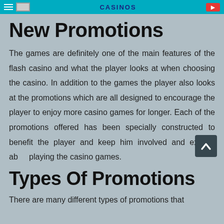CASINOS
New Promotions
The games are definitely one of the main features of the flash casino and what the player looks at when choosing the casino. In addition to the games the player also looks at the promotions which are all designed to encourage the player to enjoy more casino games for longer. Each of the promotions offered has been specially constructed to benefit the player and keep him involved and excited about playing the casino games.
Types Of Promotions
There are many different types of promotions that